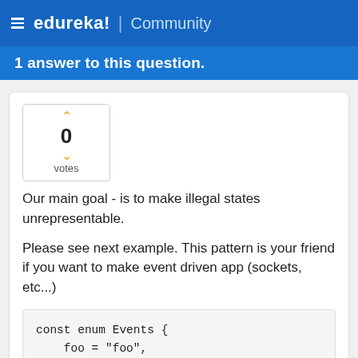≡ edureka! | Community
1 answer to this question.
[Figure (other): Vote widget showing 0 votes with up and down chevron arrows]
Our main goal - is to make illegal states unrepresentable.
Please see next example. This pattern is your friend if you want to make event driven app (sockets, etc...)
const enum Events {
    foo = "foo",
    bar = "bar",
    baz = "baz",
}